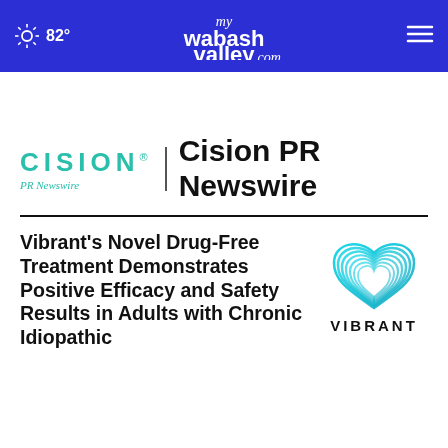82° mywabashvalley.com
[Figure (logo): Cision PR Newswire logo with teal CISION wordmark and PR Newswire text, divider, and bold Cision PR Newswire text]
Vibrant's Novel Drug-Free Treatment Demonstrates Positive Efficacy and Safety Results in Adults with Chronic Idiopathic
[Figure (logo): Vibrant logo: teal heart shape made of curved lines above text VIBRANT in bold black letters]